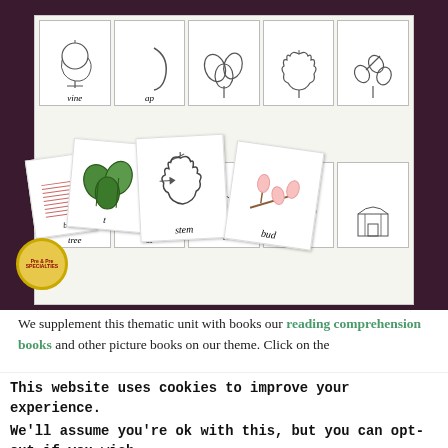[Figure (photo): Educational flashcards and worksheets about apple tree parts (vine, tree, stem, bud) scattered on a dark background, with a Pre-K/K Specialties logo circle]
We supplement this thematic unit with books our reading comprehension books and other picture books on our theme. Click on the
This website uses cookies to improve your experience. We'll assume you're ok with this, but you can opt-out if you wish. Cookie settings ACCEPT